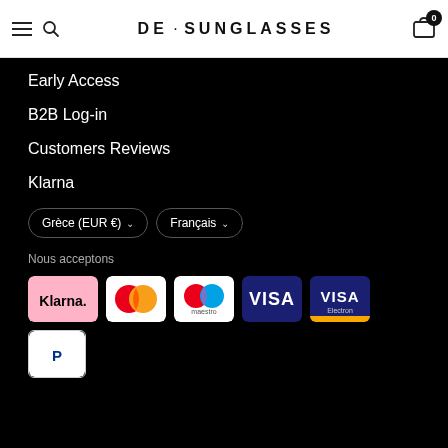DE · SUNGLASSES
Early Access
B2B Log-in
Customers Reviews
Klarna
Grèce (EUR €)  Français
Nous acceptons
[Figure (logo): Payment method logos: Klarna, Mastercard, Maestro, Visa, Visa Electron, PayPal]